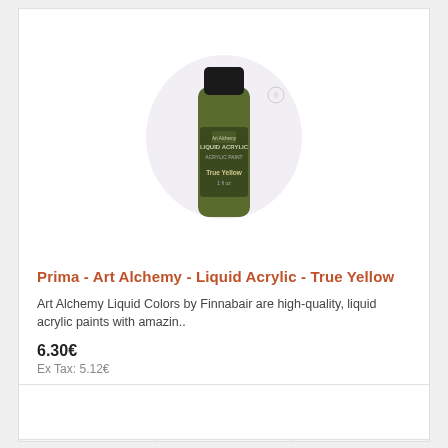[Figure (photo): Small bottle of Prima Art Alchemy Liquid Acrylic paint in olive/yellow-green color with black cap, displayed on a circular light purple/white background. Label reads LIQUID ACRYLIC and True Yellow, 1 fl oz.]
Prima - Art Alchemy - Liquid Acrylic - True Yellow
Art Alchemy Liquid Colors by Finnabair are high-quality, liquid acrylic paints with amazin..
6.30€
Ex Tax: 5.12€